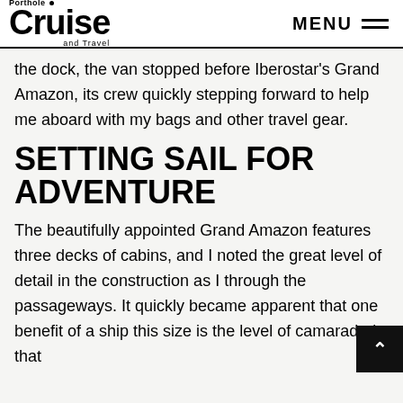Porthole Cruise and Travel | MENU
the dock, the van stopped before Iberostar's Grand Amazon, its crew quickly stepping forward to help me aboard with my bags and other travel gear.
SETTING SAIL FOR ADVENTURE
The beautifully appointed Grand Amazon features three decks of cabins, and I noted the great level of detail in the construction as I through the passageways. It quickly became apparent that one benefit of a ship this size is the level of camaraderie that